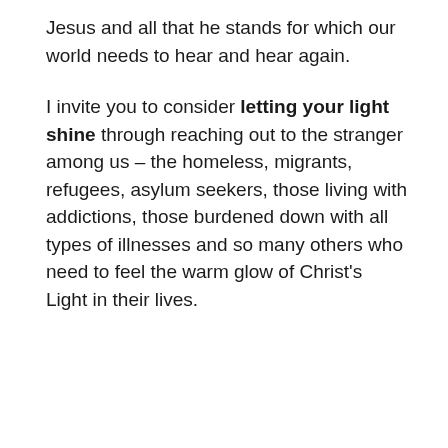Jesus and all that he stands for which our world needs to hear and hear again.
I invite you to consider letting your light shine through reaching out to the stranger among us – the homeless, migrants, refugees, asylum seekers, those living with addictions, those burdened down with all types of illnesses and so many others who need to feel the warm glow of Christ's Light in their lives.